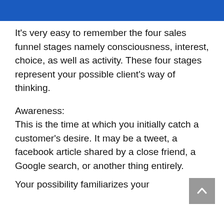[Figure (other): Blue banner header at top of page]
It's very easy to remember the four sales funnel stages namely consciousness, interest, choice, as well as activity. These four stages represent your possible client's way of thinking.
Awareness:
This is the time at which you initially catch a customer's desire. It may be a tweet, a facebook article shared by a close friend, a Google search, or another thing entirely.
Your possibility familiarizes your